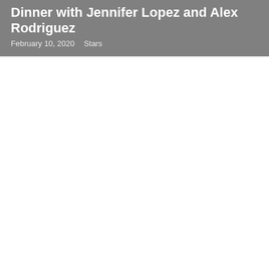Dinner with Jennifer Lopez and Alex Rodriguez
February 10, 2020   Stars